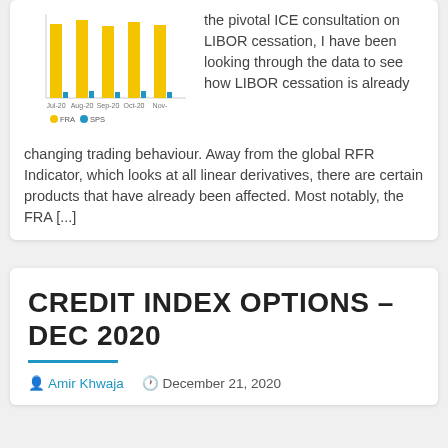[Figure (bar-chart): FRA and SPS chart]
the pivotal ICE consultation on LIBOR cessation, I have been looking through the data to see how LIBOR cessation is already changing trading behaviour. Away from the global RFR Indicator, which looks at all linear derivatives, there are certain products that have already been affected. Most notably, the FRA [...]
CREDIT INDEX OPTIONS – DEC 2020
Amir Khwaja   December 21, 2020